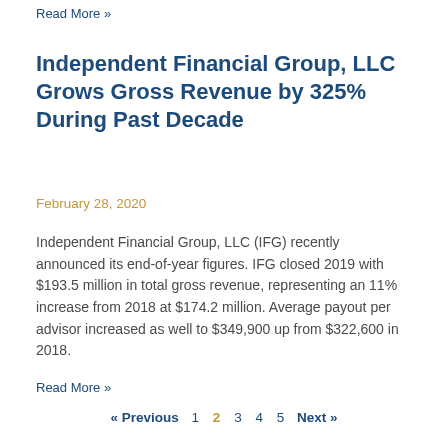Read More »
Independent Financial Group, LLC Grows Gross Revenue by 325% During Past Decade
February 28, 2020
Independent Financial Group, LLC (IFG) recently announced its end-of-year figures. IFG closed 2019 with $193.5 million in total gross revenue, representing an 11% increase from 2018 at $174.2 million. Average payout per advisor increased as well to $349,900 up from $322,600 in 2018.
Read More »
« Previous  1  2  3  4  5  Next »